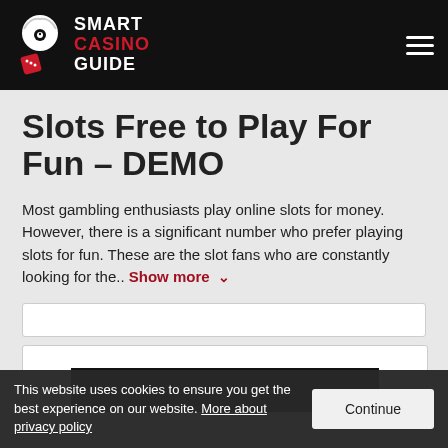SMART CASINO GUIDE
Slots Free to Play For Fun – DEMO
Most gambling enthusiasts play online slots for money. However, there is a significant number who prefer playing slots for fun. These are the slot fans who are constantly looking for the.. Show more
[Figure (screenshot): White input/search bar]
[Figure (screenshot): White card area with a black banner at the bottom]
This website uses cookies to ensure you get the best experience on our website. More about privacy policy